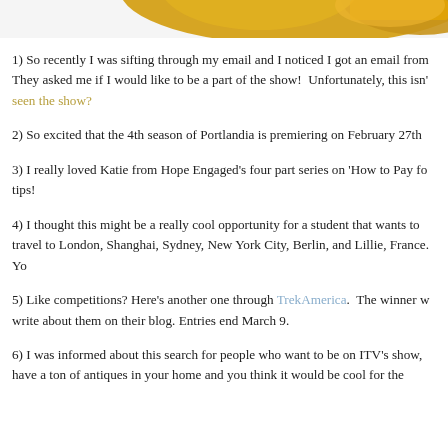[Figure (illustration): Top banner with golden/orange decorative graphic elements partially visible, cropped at top of page]
1) So recently I was sifting through my email and I noticed I got an email from They asked me if I would like to be a part of the show!  Unfortunately, this isn' seen the show?
2) So excited that the 4th season of Portlandia is premiering on February 27th
3) I really loved Katie from Hope Engaged's four part series on 'How to Pay fo tips!
4) I thought this might be a really cool opportunity for a student that wants to travel to London, Shanghai, Sydney, New York City, Berlin, and Lillie, France.  Yo
5) Like competitions? Here's another one through TrekAmerica.  The winner w write about them on their blog. Entries end March 9.
6) I was informed about this search for people who want to be on ITV's show, have a ton of antiques in your home and you think it would be cool for the